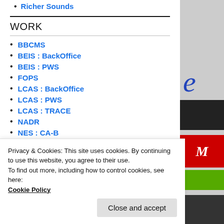Richer Sounds
WORK
BBCMS
BEIS : BackOffice
BEIS : PWS
FOPS
LCAS : BackOffice
LCAS : PWS
LCAS : TRACE
NADR
NES : CA-B
NES : CA-CF
NES : CA-D
NES : CA-B-RC
Privacy & Cookies: This site uses cookies. By continuing to use this website, you agree to their use.
To find out more, including how to control cookies, see here: Cookie Policy
Close and accept